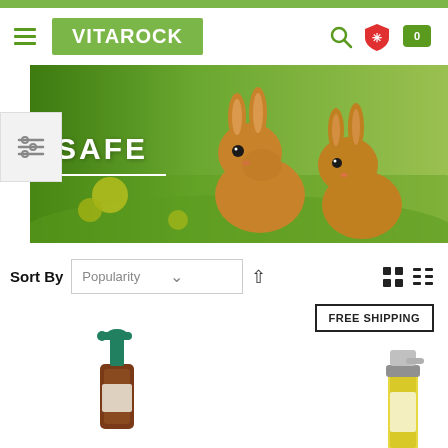[Figure (logo): VITAROCK logo in green box]
[Figure (illustration): Banner with two rabbits in a green meadow with yellow flowers, text SAFE in white]
Sort By  Popularity
FREE SHIPPING
[Figure (photo): Brown pump bottle product (partial)]
[Figure (photo): Yellow and silver spray bottle product (partial)]